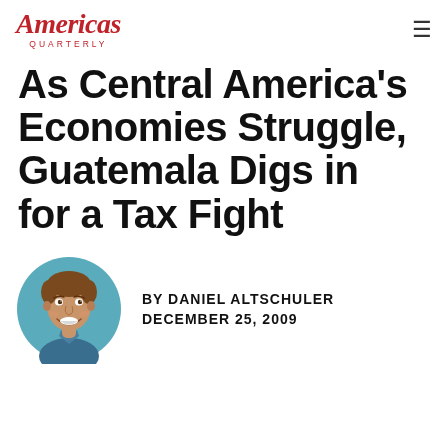Americas Quarterly
As Central America's Economies Struggle, Guatemala Digs in for a Tax Fight
[Figure (illustration): Circular illustrated portrait of a smiling man with brown hair, wearing a blue collared shirt, against a light blue circular background.]
BY DANIEL ALTSCHULER DECEMBER 25, 2009